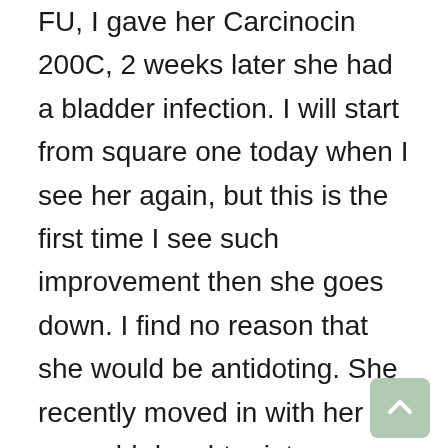FU, I gave her Carcinocin 200C, 2 weeks later she had a bladder infection. I will start from square one today when I see her again, but this is the first time I see such improvement then she goes down. I find no reason that she would be antidoting. She recently moved in with her 30 year old daughter into a home with her other daughter and son-in-law and grandson. The house is cooler than she would like but she holds her tongue often.